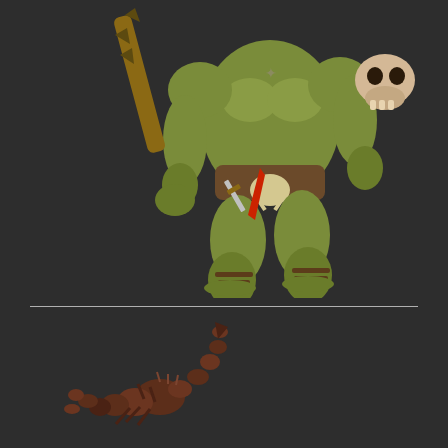[Figure (illustration): Fantasy game character illustration: a muscular green-skinned orc/goblin warrior holding a spiked wooden club in one hand and a human skull in the other. The creature wears minimal leather armor with bone decorations including a horned skull belt piece, and has leather strap sandals. It has a dagger at its waist. The character is depicted from roughly the torso down to the feet, shown against a dark gray background.]
[Figure (illustration): Fantasy creature illustration: a dark reddish-brown scorpion or scorpion-like creature with a segmented curved tail, shown against a dark gray background. The creature appears small and is positioned in the lower-left quadrant of the lower panel.]